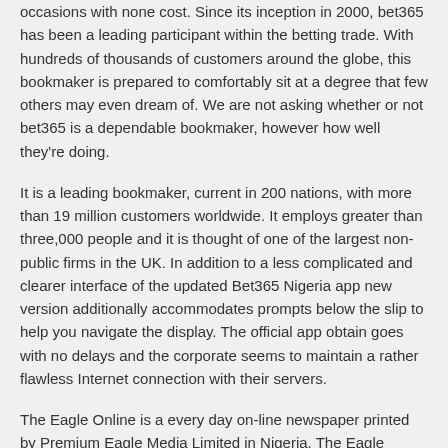occasions with none cost. Since its inception in 2000, bet365 has been a leading participant within the betting trade. With hundreds of thousands of customers around the globe, this bookmaker is prepared to comfortably sit at a degree that few others may even dream of. We are not asking whether or not bet365 is a dependable bookmaker, however how well they're doing.
It is a leading bookmaker, current in 200 nations, with more than 19 million customers worldwide. It employs greater than three,000 people and it is thought of one of the largest non-public firms in the UK. In addition to a less complicated and clearer interface of the updated Bet365 Nigeria app new version additionally accommodates prompts below the slip to help you navigate the display. The official app obtain goes with no delays and the corporate seems to maintain a rather flawless Internet connection with their servers.
The Eagle Online is a every day on-line newspaper printed by Premium Eagle Media Limited in Nigeria. The Eagle Online was established in 2011 by skilled